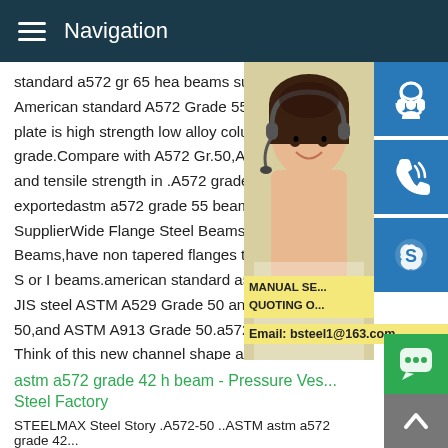Navigation
standard a572 gr 65 hea beams supplier a... American standard A572 Grade 55 beam ... plate is high strength low alloy columbium... grade.Compare with A572 Gr.50,A 572 Gr... and tensile strength in .A572 grade 55 mill... exportedastm a572 grade 55 beam chann... SupplierWide Flange Steel Beams,also re... Beams,have non tapered flanges that are... S or I beams.american standard a572 gra... JIS steel ASTM A529 Grade 50 and 55,AS... 50,and ASTM A913 Grade 50.a572 gr 55 beam channel datasheet Think of this new channel shape as a
[Figure (photo): Customer service woman with headset, with blue icon buttons for support, phone/Skype on the right side, and a yellow overlay with MANUAL SE / QUOTING O and Email: bsteel1@163.com]
astm a572 grade 42 h beam - Pressure Vessel Steel Factory
STEELMAX Steel Story .A572-50 ..ASTM astm a572 grade 42...